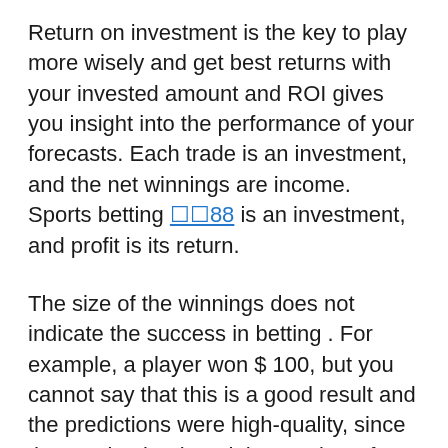Return on investment is the key to play more wisely and get best returns with your invested amount and ROI gives you insight into the performance of your forecasts. Each trade is an investment, and the net winnings are income. Sports betting ☐☐88 is an investment, and profit is its return.
The size of the winnings does not indicate the success in betting . For example, a player won $ 100, but you cannot say that this is a good result and the predictions were high-quality, since the starting bank and the number of bets are unknown.
If 1000 bets were made at $ 10 each, and the profit was only $ 100, this is not a success. But if you managed to earn $ 100